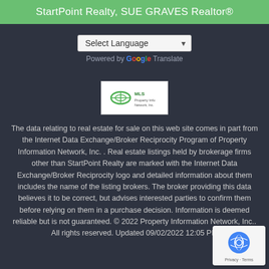StartPoint Realty, SUE GRAVES Realtor®
[Figure (screenshot): Google Translate widget with 'Select Language' dropdown]
[Figure (logo): MLS / Property Information Network IDX logo]
The data relating to real estate for sale on this web site comes in part from the Internet Data Exchange/Broker Reciprocity Program of Property Information Network, Inc. . Real estate listings held by brokerage firms other than StartPoint Realty are marked with the Internet Data Exchange/Broker Reciprocity logo and detailed information about them includes the name of the listing brokers. The broker providing this data believes it to be correct, but advises interested parties to confirm them before relying on them in a purchase decision. Information is deemed reliable but is not guaranteed. © 2022 Property Information Network, Inc.. All rights reserved. Updated 09/02/2022 12:05 PM